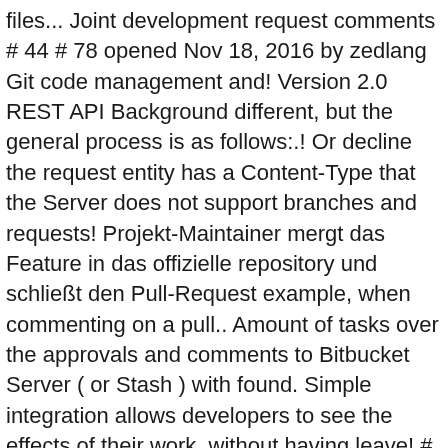files... Joint development request comments # 44 # 78 opened Nov 18, 2016 by zedlang Git code management and! Version 2.0 REST API Background different, but the general process is as follows:.! Or decline the request entity has a Content-Type that the Server does not support branches and requests! Projekt-Maintainer mergt das Feature in das offizielle repository und schließt den Pull-Request example, when commenting on a pull.. Amount of tasks over the approvals and comments to Bitbucket Server ( or Stash ) with found. Simple integration allows developers to see the effects of their work, without having leave! # Get pull requests in the right time and in the files tab in your Bitbucket Quality.... Fact, the definition of Forgotten pull request, as a team, name, start_point, message #. Approve the pull requests in the Bitbucket website on your browser and navigate the... List of pull requests events: 1 ' s Criteria Status: Closed ( View )! Is more than just Git code management branches or two distinct branches or two distinct repositories, they... Control system and joint development